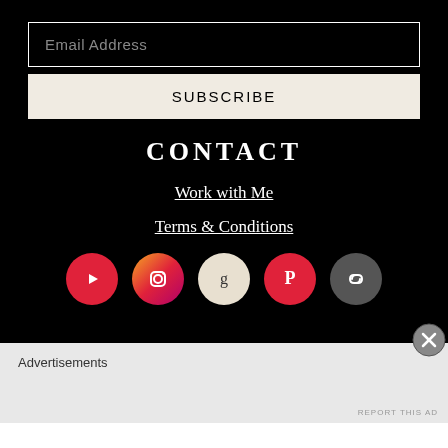Email Address
SUBSCRIBE
CONTACT
Work with Me
Terms & Conditions
[Figure (illustration): Row of five social media icon circles: YouTube (red), Instagram (gradient pink/red), Goodreads (cream), Pinterest (red), Link (gray)]
Advertisements
[Figure (illustration): Gray close button (X) circle at bottom right]